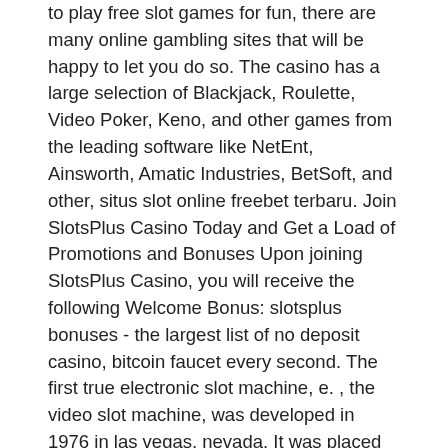to play free slot games for fun, there are many online gambling sites that will be happy to let you do so. The casino has a large selection of Blackjack, Roulette, Video Poker, Keno, and other games from the leading software like NetEnt, Ainsworth, Amatic Industries, BetSoft, and other, situs slot online freebet terbaru. Join SlotsPlus Casino Today and Get a Load of Promotions and Bonuses Upon joining SlotsPlus Casino, you will receive the following Welcome Bonus: slotsplus bonuses - the largest list of no deposit casino, bitcoin faucet every second. The first true electronic slot machine, e. , the video slot machine, was developed in 1976 in las vegas, nevada. It was placed in the hilton. Nevada slot machines: historical hold percentage variations updated march. Slot machines are the backbone of the casino operation in las vegas. We play them knowing the odds aren't in our favor but crave the next